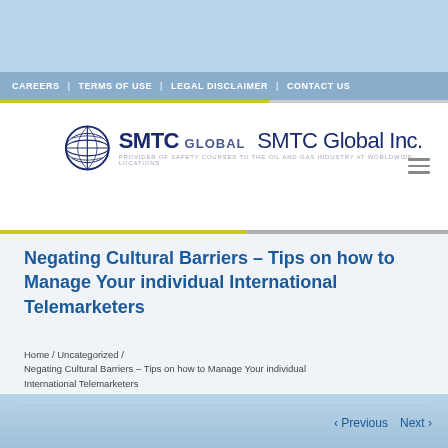CAREERS | TERMS OF USE | LEGAL DISCLAIMER | CONTACT US
[Figure (logo): SMTC Global Inc. logo with globe icon and tagline: PROVIDER OF SAFETY COURSES TO THE OIL AND GAS INDUSTRY AT WORLDWIDE LOCATIONS]
Negating Cultural Barriers – Tips on how to Manage Your individual International Telemarketers
Home / Uncategorized / Negating Cultural Barriers – Tips on how to Manage Your individual International Telemarketers